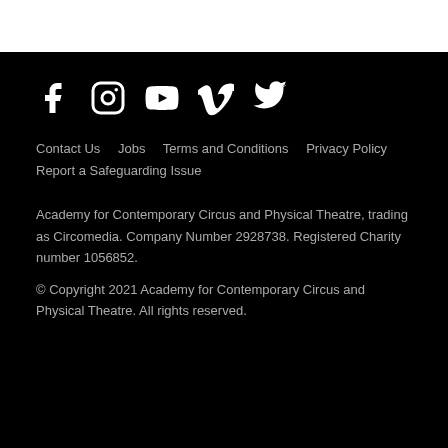[Figure (other): Social media icons row: Facebook, Instagram, YouTube, Vimeo, Twitter — white icons on black background]
Contact Us   Jobs   Terms and Conditions   Privacy Policy   Report a Safeguarding Issue
Academy for Contemporary Circus and Physical Theatre, trading as Circomedia. Company Number 2928738. Registered Charity number 1056852.
© Copyright 2021 Academy for Contemporary Circus and Physical Theatre. All rights reserved.